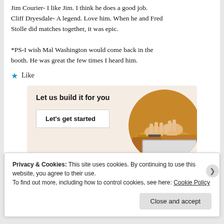Jim Courier- I like Jim. I think he does a good job.
Cliff Dryesdale- A legend. Love him. When he and Fred Stolle did matches together, it was epic.

*PS-I wish Mal Washington would come back in the booth. He was great the few times I heard him.
★ Like
[Figure (infographic): Ad banner with beige background showing 'Let us build it for you' text, a 'Let's get started' button, and a circular photo of hands working on a laptop]
Privacy & Cookies: This site uses cookies. By continuing to use this website, you agree to their use.
To find out more, including how to control cookies, see here: Cookie Policy

Close and accept